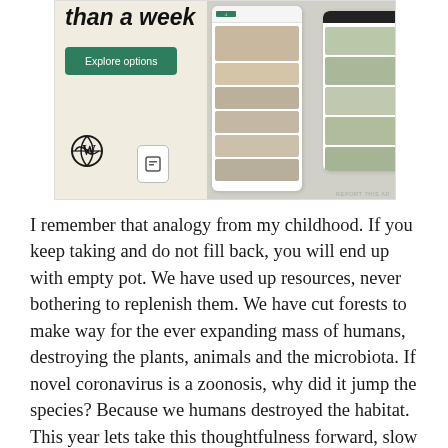[Figure (screenshot): Advertisement for a website builder showing a beige background with bold italic text 'than a week', a green 'Explore options' button, a WordPress logo, and a phone screenshot of a food/recipe website. 'REPORT THIS AD' text in bottom-right corner.]
I remember that analogy from my childhood. If you keep taking and do not fill back, you will end up with empty pot. We have used up resources, never bothering to replenish them. We have cut forests to make way for the ever expanding mass of humans, destroying the plants, animals and the microbiota. If novel coronavirus is a zoonosis, why did it jump the species? Because we humans destroyed the habitat. This year lets take this thoughtfulness forward, slow down and reflect on how can we make this planet more habitable not just for us now, but for other species and generations to come. We